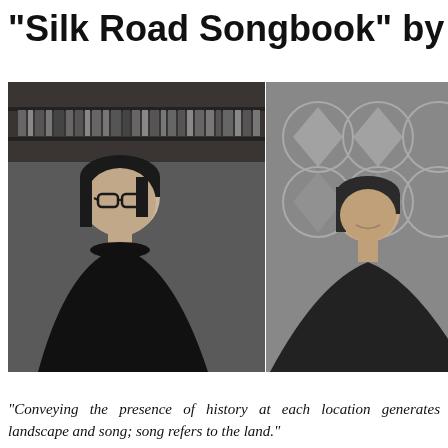"Silk Road Songbook" by Arzu
[Figure (photo): Black and white composite photograph: left panel shows a woman with short dark hair and glasses wearing a black turtleneck, standing in front of a bookshelf; right panel shows a woman with short dark hair wearing black, seated in front of a decorative geometric patterned wall.]
"Conveying the presence of history at each location generates landscape and song; song refers to the land."